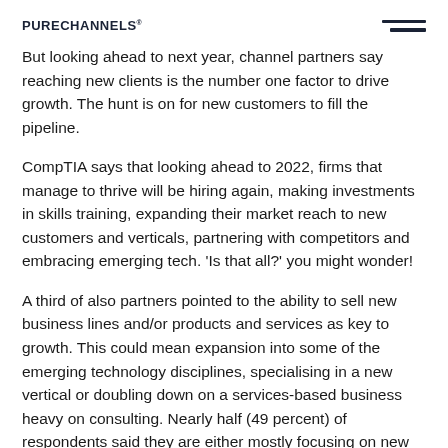PURECHANNELS
But looking ahead to next year, channel partners say reaching new clients is the number one factor to drive growth. The hunt is on for new customers to fill the pipeline.
CompTIA says that looking ahead to 2022, firms that manage to thrive will be hiring again, making investments in skills training, expanding their market reach to new customers and verticals, partnering with competitors and embracing emerging tech. 'Is that all?' you might wonder!
A third of also partners pointed to the ability to sell new business lines and/or products and services as key to growth. This could mean expansion into some of the emerging technology disciplines, specialising in a new vertical or doubling down on a services-based business heavy on consulting. Nearly half (49 percent) of respondents said they are either mostly focusing on new